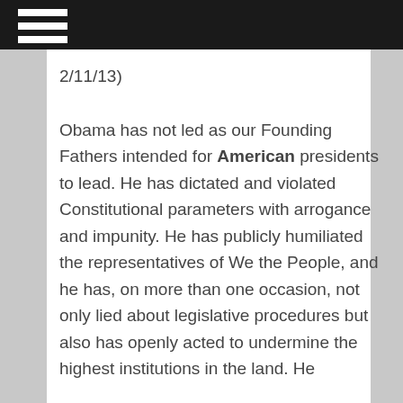2/11/13)
Obama has not led as our Founding Fathers intended for American presidents to lead. He has dictated and violated Constitutional parameters with arrogance and impunity. He has publicly humiliated the representatives of We the People, and he has, on more than one occasion, not only lied about legislative procedures but also has openly acted to undermine the highest institutions in the land. He